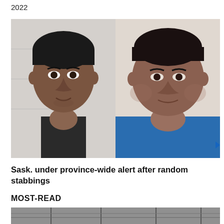2022
[Figure (photo): Two mugshot-style photos side by side: left shows a young man with dark hair in a dark shirt against a white cinder block wall; right shows a heavier-set man in a blue t-shirt against a light background. A blue play button arrow is visible on the right edge.]
Sask. under province-wide alert after random stabbings
MOST-READ
[Figure (photo): Partial view of a black and white outdoor scene, appears to be a street or infrastructure photo.]